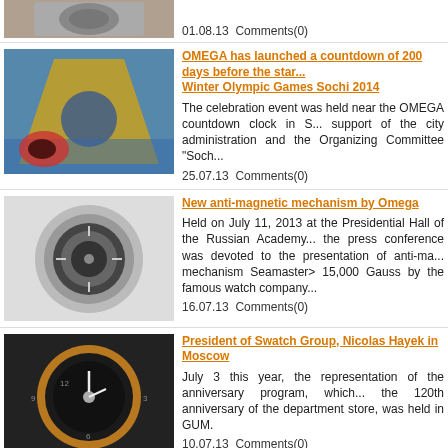01.08.13  Comments(0)
OMEGA has launched a countdown of 200 days before the start of the Winter Olympic Games Sochi 2014
The celebration event was held near the OMEGA countdown clock in S... support of the city administration and the Organizing Committee "Soch...
25.07.13  Comments(0)
New anti-magnetic mechanism by Omega
Held on July 11, 2013 at the Presidential Hall of the Russian Academy... the press conference was devoted to the presentation of anti-ma... mechanism Seamaster> 15,000 Gauss by the famous watch company...
16.07.13  Comments(0)
President of Swatch Group, Nicolas Hayek in Moscow
July 3 this year, the representation of the anniversary program, which... the 120th anniversary of the department store, was held in GUM.
10.07.13  Comments(0)
Omega Planet Ocean Movie Premiere in Moscow
June 26 this year, organized by the Russian company Omega Plane... premiere in Moscow and presented a novelty Seamaster Planet ... GoodPlanet, which was officially presented at the internation... BaselWorld 2013.
01.07.13  Comments(0)
Seamaster Diver ETNZ Limited Edition by Omega
The famous Swiss watch brand Omega announces the novelty Sea... ETNZ Limited Edition, created in honor of the Emirates Team New Ze... the contenders to win the AC72 class catamarans in the America's C... 2013.
30.06.13  Comments(0)